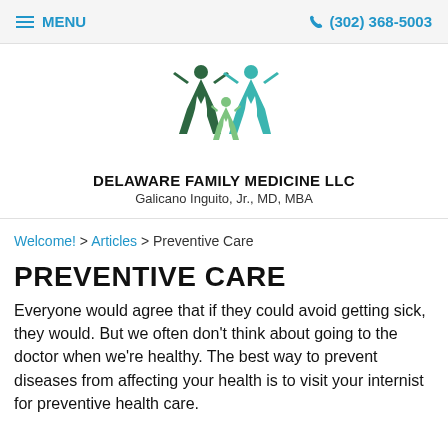MENU   (302) 368-5003
[Figure (logo): Delaware Family Medicine LLC logo with three human figures (two adults in dark green and teal, one child in light green) with arms raised]
DELAWARE FAMILY MEDICINE LLC
Galicano Inguito, Jr., MD, MBA
Welcome! > Articles > Preventive Care
PREVENTIVE CARE
Everyone would agree that if they could avoid getting sick, they would. But we often don't think about going to the doctor when we're healthy. The best way to prevent diseases from affecting your health is to visit your internist for preventive health care.